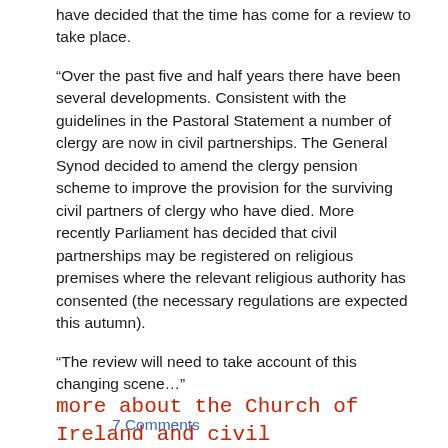have decided that the time has come for a review to take place.
“Over the past five and half years there have been several developments. Consistent with the guidelines in the Pastoral Statement a number of clergy are now in civil partnerships. The General Synod decided to amend the clergy pension scheme to improve the provision for the surviving civil partners of clergy who have died. More recently Parliament has decided that civil partnerships may be registered on religious premises where the relevant religious authority has consented (the necessary regulations are expected this autumn).
“The review will need to take account of this changing scene…”
7 Comments
more about the Church of Ireland and civil